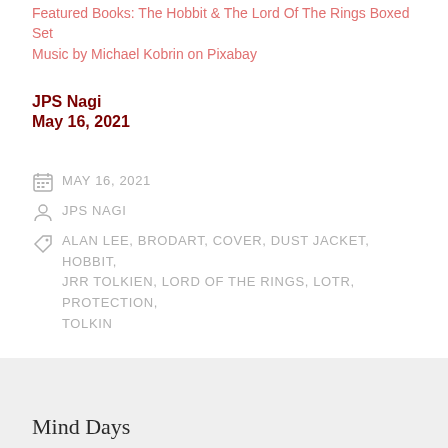Featured Books: The Hobbit & The Lord Of The Rings Boxed Set
Music by Michael Kobrin on Pixabay
JPS Nagi
May 16, 2021
MAY 16, 2021
JPS NAGI
ALAN LEE, BRODART, COVER, DUST JACKET, HOBBIT, JRR TOLKIEN, LORD OF THE RINGS, LOTR, PROTECTION, TOLKIN
Mind Days